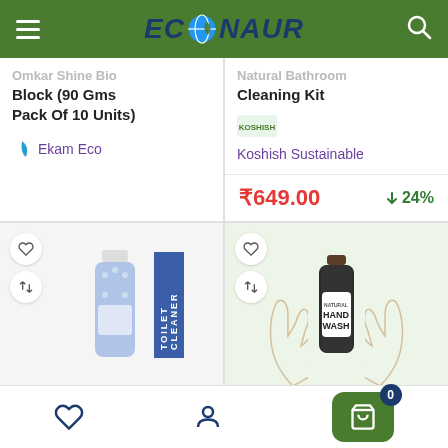ECONAUR
Omkar Shine Bio Block (90 Gms Pack Of 10 Units)
Ekam Eco
Natural Bathroom Cleaning Kit
Koshish Sustainable Solutions Pvt Ltd
₹649.00  ↓ 24%
[Figure (photo): Toilet cleaner product bottle with blue label]
[Figure (photo): Natural hand wash bottle with hands illustration on green background]